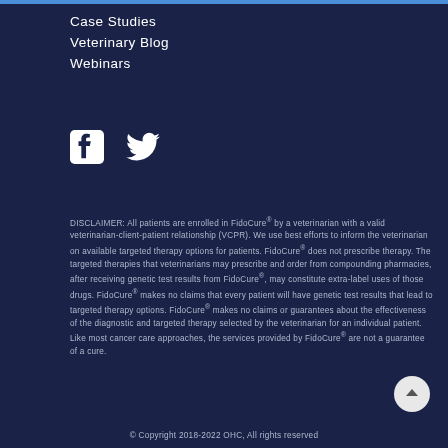Case Studies
Veterinary Blog
Webinars
[Figure (logo): Facebook and Twitter social media icons in white]
DISCLAIMER: All patients are enrolled in FidoCure® by a veterinarian with a valid veterinarian-client-patient relationship (VCPR). We use best efforts to inform the veterinarian on available targeted therapy options for patients. FidoCure® does not prescribe therapy. The targeted therapies that veterinarians may prescribe and order from compounding pharmacies, after receiving genetic test results from FidoCure®, may constitute extra-label uses of those drugs. FidoCure® makes no claims that every patient will have genetic test results that lead to targeted therapy options. FidoCure® makes no claims or guarantees about the effectiveness of the diagnostic and targeted therapy selected by the veterinarian for an individual patient. Like most cancer care approaches, the services provided by FidoCure® are not a guarantee of a cure.
© Copyright 2018-2022 OHC, All rights reserved